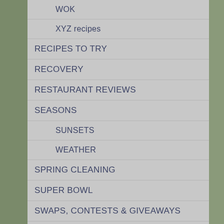WOK
XYZ recipes
RECIPES TO TRY
RECOVERY
RESTAURANT REVIEWS
SEASONS
SUNSETS
WEATHER
SPRING CLEANING
SUPER BOWL
SWAPS, CONTESTS & GIVEAWAYS
TASTE & CREATE
TECHNOLOGY